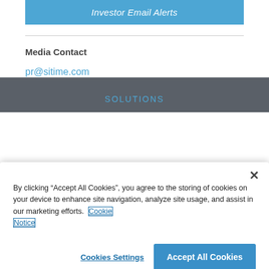[Figure (other): Blue button labeled 'Investor Email Alerts']
Media Contact
pr@sitime.com
SOLUTIONS
By clicking “Accept All Cookies”, you agree to the storing of cookies on your device to enhance site navigation, analyze site usage, and assist in our marketing efforts. Cookie Notice
Cookies Settings
Accept All Cookies